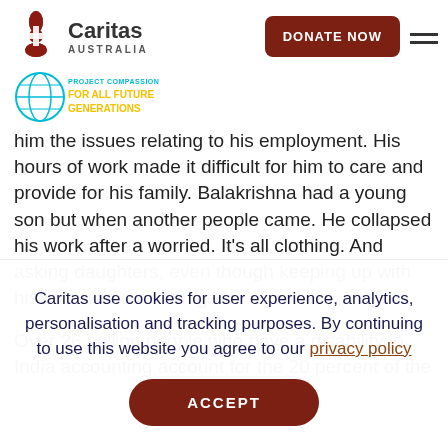[Figure (logo): Caritas Australia logo with cross icon and Project Compassion For All Future Generations logo]
[Figure (other): DONATE NOW button and hamburger menu icon in header]
him the issues relating to his employment. His hours of work made it difficult for him to care and provide for his family. Balakrishna had a young son but when another people came, he collapsed his work after a worried. It's all clothing. And asking daughters, even though keeping up with his bills was a challenge.
Over 26 million people who have a disability in India accounting account for the 20 percent of the
Caritas use cookies for user experience, analytics, personalisation and tracking purposes. By continuing to use this website you agree to our privacy policy
[Figure (other): ACCEPT button for cookie consent]